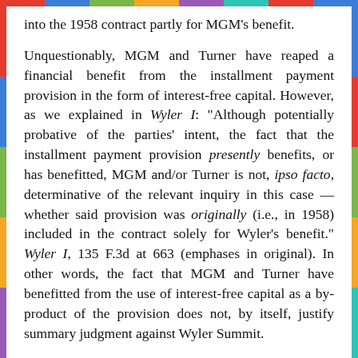into the 1958 contract partly for MGM's benefit.
Unquestionably, MGM and Turner have reaped a financial benefit from the installment payment provision in the form of interest-free capital. However, as we explained in Wyler I: "Although potentially probative of the parties' intent, the fact that the installment payment provision presently benefits, or has benefitted, MGM and/or Turner is not, ipso facto, determinative of the relevant inquiry in this case — whether said provision was originally (i.e., in 1958) included in the contract solely for Wyler's benefit." Wyler I, 135 F.3d at 663 (emphases in original). In other words, the fact that MGM and Turner have benefitted from the use of interest-free capital as a by-product of the provision does not, by itself, justify summary judgment against Wyler Summit.
Wyler Summit has presented evidence that, when viewed in the light most favorable to it, would